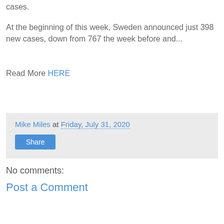cases.
At the beginning of this week, Sweden announced just 398 new cases, down from 767 the week before and...
Read More HERE
Mike Miles at Friday, July 31, 2020
Share
No comments:
Post a Comment